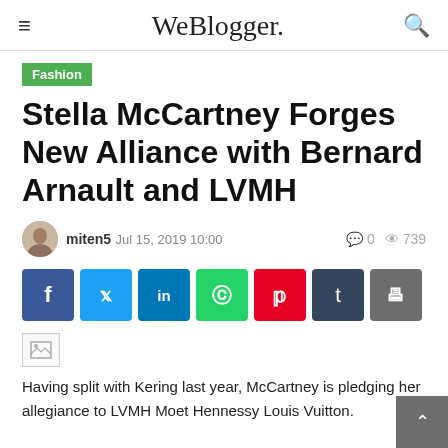WeBlogger.
Fashion
Stella McCartney Forges New Alliance with Bernard Arnault and LVMH
miten5 Jul 15, 2019 10:00   0  739
[Figure (other): Social sharing buttons: Facebook, Twitter, LinkedIn, WhatsApp, Pinterest, Tumblr, Print]
[Figure (photo): Broken/loading image placeholder]
Having split with Kering last year, McCartney is pledging her allegiance to LVMH Moet Hennessy Louis Vuitton.